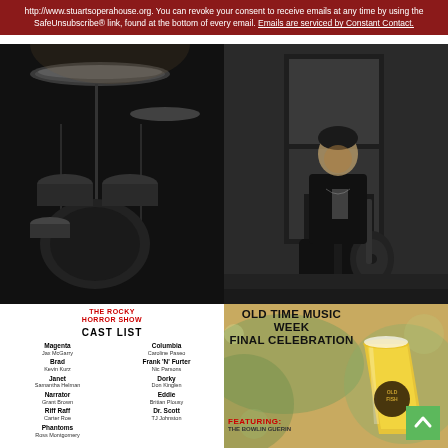http://www.stuartsoperahouse.org. You can revoke your consent to receive emails at any time by using the SafeUnsubscribe® link, found at the bottom of every email. Emails are serviced by Constant Contact.
[Figure (photo): Black and white photo of a drum kit with cymbals being played on stage]
[Figure (photo): Black and white photo of a young man sitting with an acoustic guitar]
[Figure (other): The Rocky Horror Show cast list with two columns listing roles and actor names: Magenta - Jax McGarry, Brad - Kevin Kurz, Janet - Samantha Helman, Narrator - Grant Brown, Riff Raff - Carter Roe, Phantoms - Ross Montgomery; Columbia - Caroline Paseo, Frank 'N' Furter - Nic Parsons, Dorky - Don Kinglen, Eddie - Britian Plousy, Dr. Scott - TJ Johnston]
OLD TIME MUSIC WEEK FINAL CELEBRATION
FEATURING:
[Figure (photo): Beer glass with golden beer and Old Fish brewery logo, with green back-arrow button overlay]